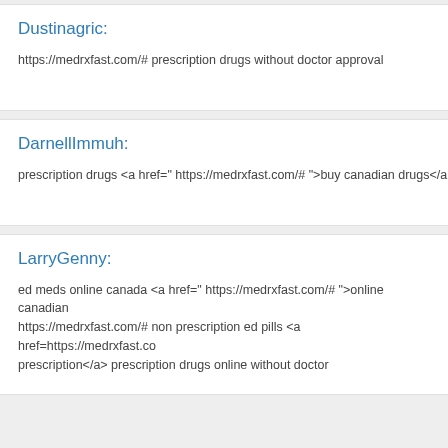Dustinagric:
https://medrxfast.com/# prescription drugs without doctor approval
DarnellImmuh:
prescription drugs <a href=" https://medrxfast.com/# ">buy canadian drugs</a
LarryGenny:
ed meds online canada <a href=" https://medrxfast.com/# ">online canadian https://medrxfast.com/# non prescription ed pills <a href=https://medrxfast.co prescription</a> prescription drugs online without doctor